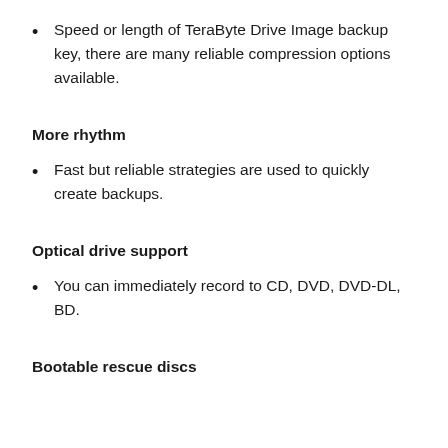Speed or length of TeraByte Drive Image backup key, there are many reliable compression options available.
More rhythm
Fast but reliable strategies are used to quickly create backups.
Optical drive support
You can immediately record to CD, DVD, DVD-DL, BD.
Bootable rescue discs